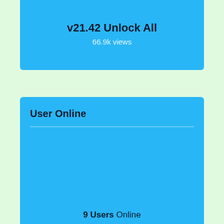v21.42 Unlock All
66.9k views
User Online
9 Users Online